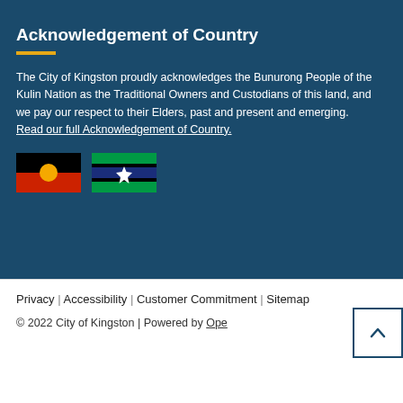Acknowledgement of Country
The City of Kingston proudly acknowledges the Bunurong People of the Kulin Nation as the Traditional Owners and Custodians of this land, and we pay our respect to their Elders, past and present and emerging. Read our full Acknowledgement of Country.
[Figure (illustration): Aboriginal flag (black top half, red bottom half, yellow circle) and Torres Strait Islander flag (green with blue and black stripes, white star) displayed side by side]
Privacy | Accessibility | Customer Commitment | Sitemap
© 2022 City of Kingston | Powered by Ope...